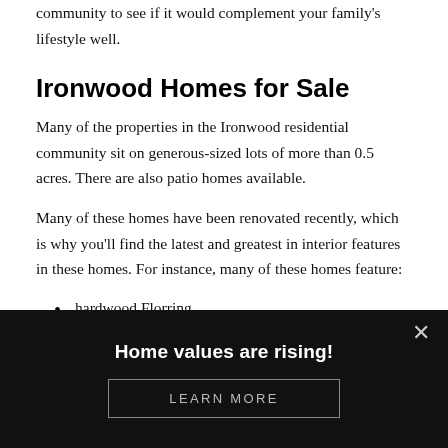community to see if it would complement your family's lifestyle well.
Ironwood Homes for Sale
Many of the properties in the Ironwood residential community sit on generous-sized lots of more than 0.5 acres.  There are also patio homes available.
Many of these homes have been renovated recently, which is why you'll find the latest and greatest in interior features in these homes. For instance, many of these homes feature:
hardwood Florring
Custom staircases
Home values are rising!
LEARN MORE